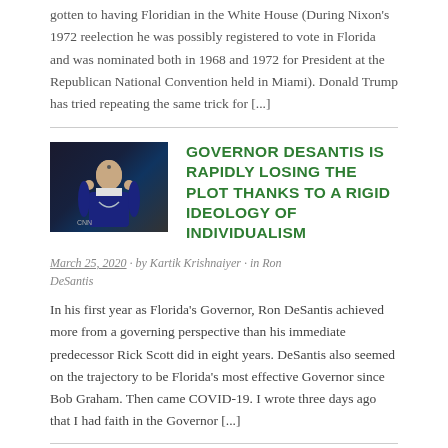gotten to having Floridian in the White House (During Nixon's 1972 reelection he was possibly registered to vote in Florida and was nominated both in 1968 and 1972 for President at the Republican National Convention held in Miami). Donald Trump has tried repeating the same trick for [...]
GOVERNOR DESANTIS IS RAPIDLY LOSING THE PLOT THANKS TO A RIGID IDEOLOGY OF INDIVIDUALISM
March 25, 2020 · by Kartik Krishnaiyer · in Ron DeSantis
In his first year as Florida's Governor, Ron DeSantis achieved more from a governing perspective than his immediate predecessor Rick Scott did in eight years. DeSantis also seemed on the trajectory to be Florida's most effective Governor since Bob Graham. Then came COVID-19. I wrote three days ago that I had faith in the Governor [...]
#STAYATHOME READING